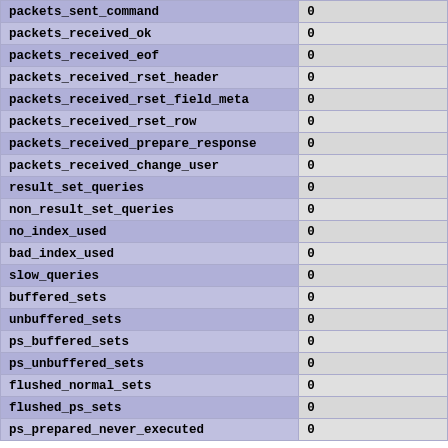| packets_sent_command | 0 |
| packets_received_ok | 0 |
| packets_received_eof | 0 |
| packets_received_rset_header | 0 |
| packets_received_rset_field_meta | 0 |
| packets_received_rset_row | 0 |
| packets_received_prepare_response | 0 |
| packets_received_change_user | 0 |
| result_set_queries | 0 |
| non_result_set_queries | 0 |
| no_index_used | 0 |
| bad_index_used | 0 |
| slow_queries | 0 |
| buffered_sets | 0 |
| unbuffered_sets | 0 |
| ps_buffered_sets | 0 |
| ps_unbuffered_sets | 0 |
| flushed_normal_sets | 0 |
| flushed_ps_sets | 0 |
| ps_prepared_never_executed | 0 |